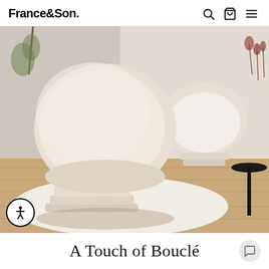France&Son.
[Figure (photo): Two modern bouclé accent chairs with round egg-shaped backs and stacked pedestal bases in cream/ivory bouclé fabric, shown in a styled living room setting with light wood floors, a white area rug, a black side table, and dried floral stems in the background.]
A Touch of Bouclé